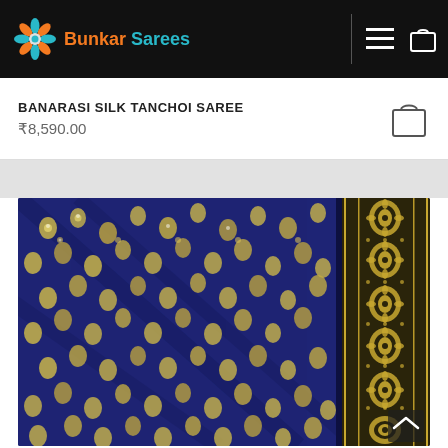Bunkar Sarees
BANARASI SILK TANCHOI SAREE
₹8,590.00
[Figure (photo): Close-up photo of a Banarasi Silk Tanchoi Saree showing navy blue fabric with intricate golden paisley and floral brocade patterns, with a decorative gold border on the right side.]